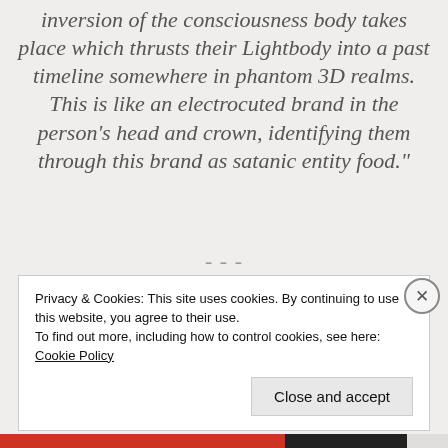inversion of the consciousness body takes place which thrusts their Lightbody into a past timeline somewhere in phantom 3D realms. This is like an electrocuted brand in the person’s head and crown, identifying them through this brand as satanic entity food.”
Privacy & Cookies: This site uses cookies. By continuing to use this website, you agree to their use.
To find out more, including how to control cookies, see here: Cookie Policy
Close and accept